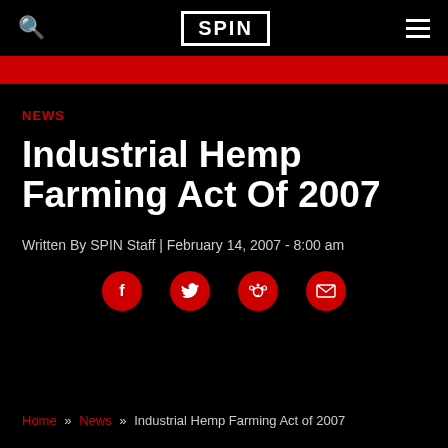SPIN
NEWS
Industrial Hemp Farming Act Of 2007
Written By SPIN Staff | February 14, 2007  - 8:00 am
[Figure (infographic): Social sharing icons: Facebook, Twitter, Reddit, Email — red circles with white icons]
Home » News » Industrial Hemp Farming Act of 2007